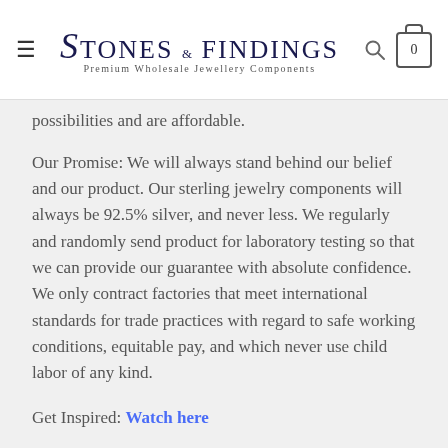Stones & Findings — Premium Wholesale Jewellery Components
possibilities and are affordable.
Our Promise: We will always stand behind our belief and our product. Our sterling jewelry components will always be 92.5% silver, and never less. We regularly and randomly send product for laboratory testing so that we can provide our guarantee with absolute confidence. We only contract factories that meet international standards for trade practices with regard to safe working conditions, equitable pay, and which never use child labor of any kind.
Get Inspired: Watch here
Abbreviation Guide: Click Here
Tips, Tricks and How To's! Follow Stones and Findings on